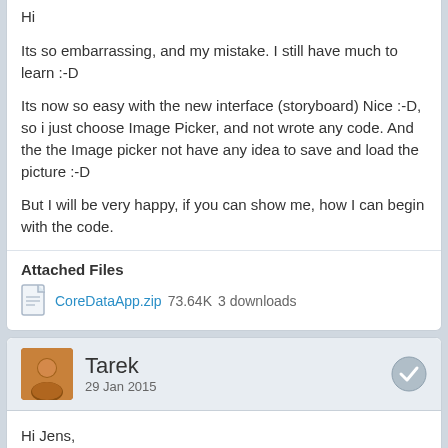Hi
Its so embarrassing, and my mistake. I still have much to learn :-D
Its now so easy with the new interface (storyboard) Nice :-D, so i just choose Image Picker, and not wrote any code. And the the Image picker not have any idea to save and load the picture :-D
But I will be very happy, if you can show me, how I can begin with the code.
Attached Files
CoreDataApp.zip  73.64K  3 downloads
Tarek
29 Jan 2015
Hi Jens,
I apologize for the delayed reply since we're getting behind schedule with our next release that many are waiting for.